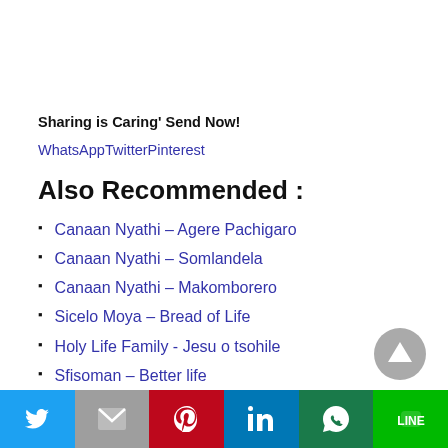Sharing is Caring' Send Now!
WhatsAppTwitterPinterest
Also Recommended :
Canaan Nyathi – Agere Pachigaro
Canaan Nyathi – Somlandela
Canaan Nyathi – Makomborero
Sicelo Moya – Bread of Life
Holy Life Family - Jesu o tsohile
Sfisoman – Better life
Twitter Gmail Pinterest LinkedIn WhatsApp Line